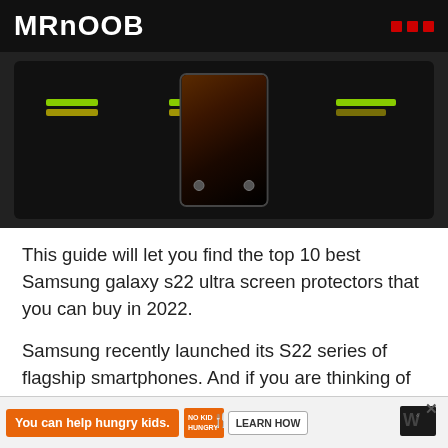MRNOOB
[Figure (screenshot): Dark game screenshot showing phones with green/yellow progress bars and a center phone displaying a brown animal on screen]
This guide will let you find the top 10 best Samsung galaxy s22 ultra screen protectors that you can buy in 2022.
Samsung recently launched its S22 series of flagship smartphones. And if you are thinking of buying their flagship smartphone Galaxy S22 Ultra from the series, you will need to protect it from falls and scratches. We have already covered and
[Figure (screenshot): Advertisement banner: You can help hungry kids. No Kid Hungry. LEARN HOW]